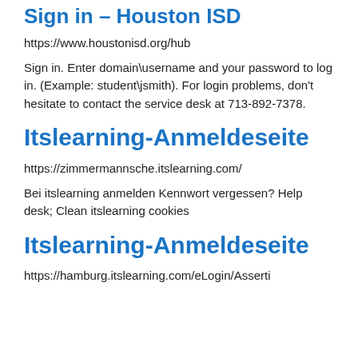Sign in – Houston ISD
https://www.houstonisd.org/hub
Sign in. Enter domain\username and your password to log in. (Example: student\jsmith). For login problems, don't hesitate to contact the service desk at 713-892-7378.
Itslearning-Anmeldeseite
https://zimmermannsche.itslearning.com/
Bei itslearning anmelden Kennwort vergessen? Help desk; Clean itslearning cookies
Itslearning-Anmeldeseite
https://hamburg.itslearning.com/eLogin/Asserti